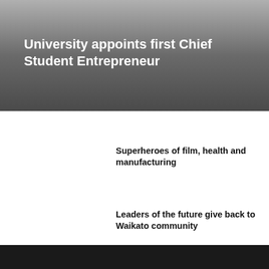University appoints first Chief Student Entrepreneur
Superheroes of film, health and manufacturing
Leaders of the future give back to Waikato community
Cutting-edge technology could be a 'game changer' for pain management